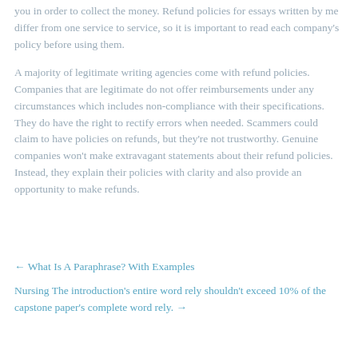you in order to collect the money. Refund policies for essays written by me differ from one service to service, so it is important to read each company's policy before using them.
A majority of legitimate writing agencies come with refund policies. Companies that are legitimate do not offer reimbursements under any circumstances which includes non-compliance with their specifications. They do have the right to rectify errors when needed. Scammers could claim to have policies on refunds, but they're not trustworthy. Genuine companies won't make extravagant statements about their refund policies. Instead, they explain their policies with clarity and also provide an opportunity to make refunds.
← What Is A Paraphrase? With Examples
Nursing The introduction's entire word rely shouldn't exceed 10% of the capstone paper's complete word rely. →